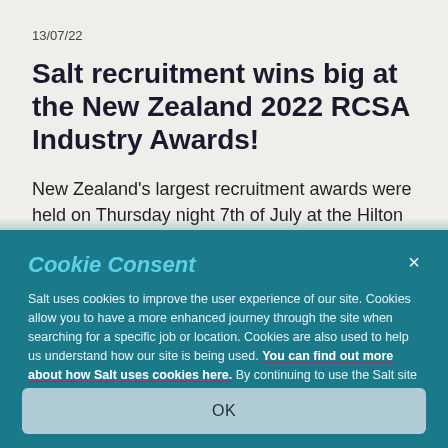13/07/22
Salt recruitment wins big at the New Zealand 2022 RCSA Industry Awards!
New Zealand's largest recruitment awards were held on Thursday night 7th of July at the Hilton Auckland…
Cookie Consent
Salt uses cookies to improve the user experience of our site. Cookies allow you to have a more enhanced journey through the site when searching for a specific job or location. Cookies are also used to help us understand how our site is being used. You can find out more about how Salt uses cookies here. By continuing to use the Salt site you are consenting to use our cookies.
OK